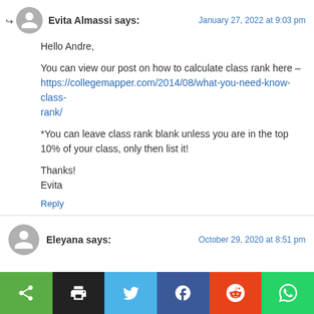Evita Almassi says:
January 27, 2022 at 9:03 pm
Hello Andre,

You can view our post on how to calculate class rank here – https://collegemapper.com/2014/08/what-you-need-know-class-rank/

*You can leave class rank blank unless you are in the top 10% of your class, only then list it!

Thanks!
Evita
Reply
Eleyana says:
October 29, 2020 at 8:51 pm